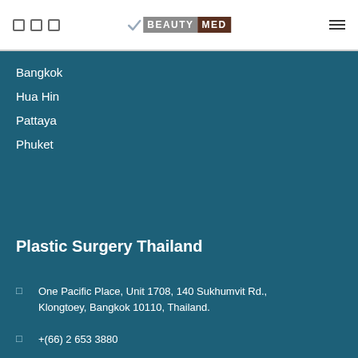[Figure (logo): BeautyMed logo with checkmark, grey BEAUTY and brown MED text on colored backgrounds]
Bangkok
Hua Hin
Pattaya
Phuket
Plastic Surgery Thailand
One Pacific Place, Unit 1708, 140 Sukhumvit Rd., Klongtoey, Bangkok 10110, Thailand.
+(66) 2 653 3880